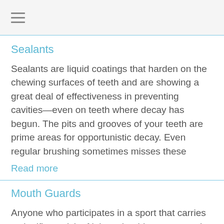Sealants
Sealants are liquid coatings that harden on the chewing surfaces of teeth and are showing a great deal of effectiveness in preventing cavities—even on teeth where decay has begun. The pits and grooves of your teeth are prime areas for opportunistic decay. Even regular brushing sometimes misses these
Read more
Mouth Guards
Anyone who participates in a sport that carries a significant risk of injury should wear a mouth protector. Sports like basketball, baseball, gymnastics, and volleyball all pose risks to your gum